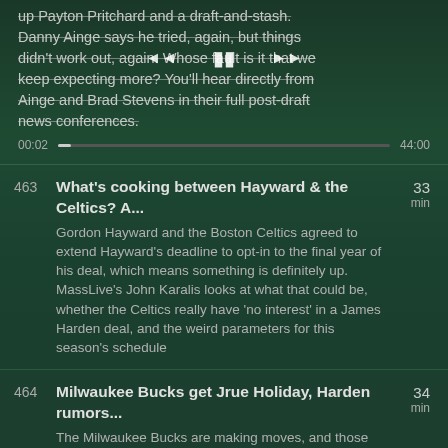up Payton Pritchard and a draft-and-stash. Danny Ainge says he tried, again, but things didn't work out, again. Whose fault is it that we keep expecting more? You'll hear directly from Ainge and Brad Stevens in their full post-draft news conferences.
00:02  44:00
463 — What's cooking between Hayward & the Celtics? A... — 33 min — Gordon Hayward and the Boston Celtics agreed to extend Hayward's deadline to opt-in to the final year of his deal, which means something is definitely up. MassLive's John Karalis looks at what that could be, whether the Celtics really have 'no interest' in a James Harden deal, and the weird parameters for this season's schedule
464 — Milwaukee Bucks get Jrue Holiday, Harden rumors... — 34 min — The Milwaukee Bucks are making moves, and those moves could be what keeps Giannis Antetokounmpo in Milwaukee a long time. MassLive's John Karalis talks about that, the persisting James Harden rumors, and how it impacts the Celtics and Gordon Hayward.
465 — How the new NBA deal impacts the Boston... — 41